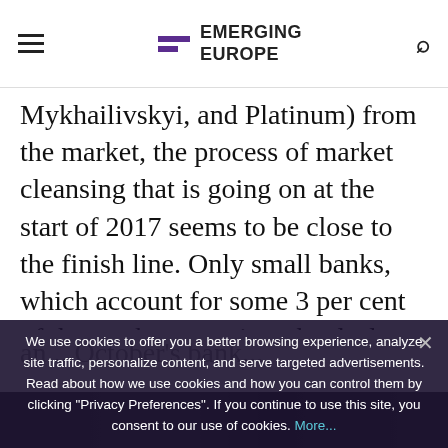Emerging Europe
Mykhailivskyi, and Platinum) from the market, the process of market cleansing that is going on at the start of 2017 seems to be close to the finish line. Only small banks, which account for some 3 per cent of the market, remain to be dealt with, however, any developments that could lead to the destabilisation and spread of panic in the market. October's bank...
We use cookies to offer you a better browsing experience, analyze site traffic, personalize content, and serve targeted advertisements. Read about how we use cookies and how you can control them by clicking "Privacy Preferences". If you continue to use this site, you consent to our use of cookies. More...
[Figure (photo): Dark background image strip at the bottom of the page, partially obscured by cookie banner]